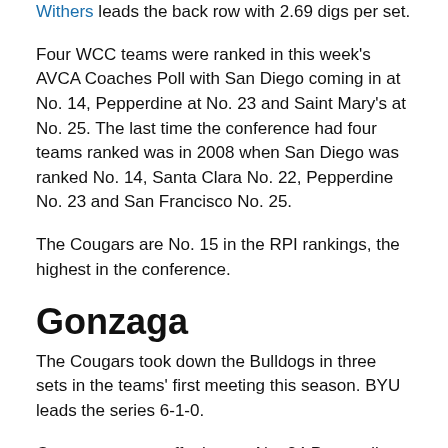Withers leads the back row with 2.69 digs per set.
Four WCC teams were ranked in this week's AVCA Coaches Poll with San Diego coming in at No. 14, Pepperdine at No. 23 and Saint Mary's at No. 25. The last time the conference had four teams ranked was in 2008 when San Diego was ranked No. 14, Santa Clara No. 22, Pepperdine No. 23 and San Francisco No. 25.
The Cougars are No. 15 in the RPI rankings, the highest in the conference.
Gonzaga
The Cougars took down the Bulldogs in three sets in the teams' first meeting this season. BYU leads the series 6-1-0.
Gonzaga comes off a loss to No. 24 Pepperdine last week.
Savannah Blinn leads Gonzaga on offense with 3.39 kills per set. Lauren Joseph dishes out 4.80 assists per set,